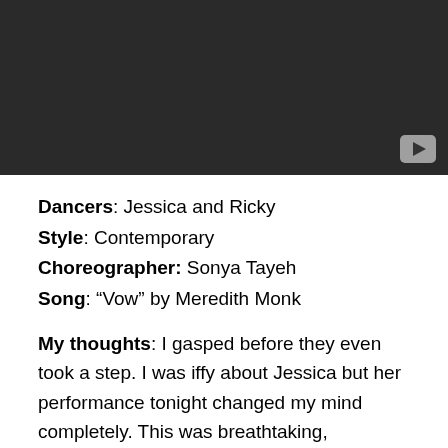[Figure (screenshot): Video player placeholder with dark background and play button in bottom-right corner]
Dancers: Jessica and Ricky
Style: Contemporary
Choreographer: Sonya Tayeh
Song: “Vow” by Meredith Monk
My thoughts: I gasped before they even took a step. I was iffy about Jessica but her performance tonight changed my mind completely. This was breathtaking, goosebump-making awesomeness. THIS is the Sonya Tayeh I love. My favorite so far this evening.
Judges: The judges were on their feet. Nigel wants America to know they just witnessed an entirely different